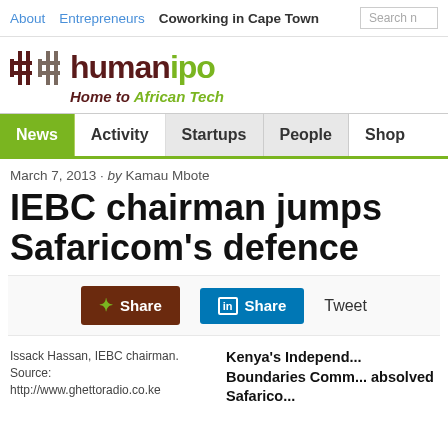About  Entrepreneurs  Coworking in Cape Town  Search
[Figure (logo): Humanipo logo with two hash icons, text 'humanipo' and tagline 'Home to African Tech']
News  Activity  Startups  People  Shop
March 7, 2013 · by Kamau Mbote
IEBC chairman jumps Safaricom's defence
Share  Share  Tweet
Issack Hassan, IEBC chairman. Source: http://www.ghettoradio.co.ke
Kenya's Independ... Boundaries Comm... absolved Safarico...